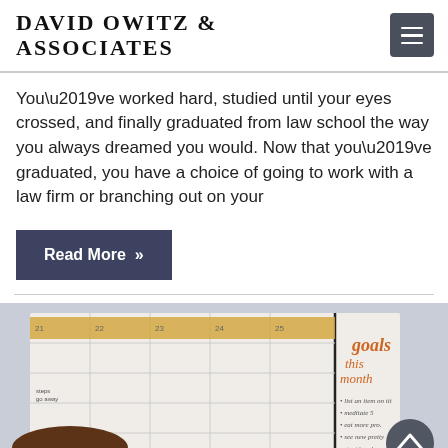DAVID OWITZ & ASSOCIATES
You’ve worked hard, studied until your eyes crossed, and finally graduated from law school the way you always dreamed you would. Now that you’ve graduated, you have a choice of going to work with a law firm or branching out on your
Read More »
[Figure (photo): Photo of an open planner/calendar notebook with handwritten 'goals this month' text in orange script, with a coffee cup in the foreground, on a light gray background. Partially visible word 'MBER' at bottom right.]